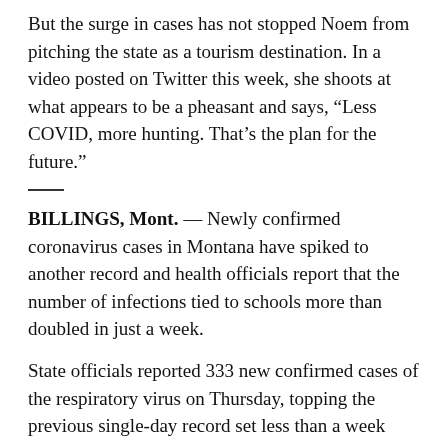But the surge in cases has not stopped Noem from pitching the state as a tourism destination. In a video posted on Twitter this week, she shoots at what appears to be a pheasant and says, “Less COVID, more hunting. That’s the plan for the future.”
BILLINGS, Mont. — Newly confirmed coronavirus cases in Montana have spiked to another record and health officials report that the number of infections tied to schools more than doubled in just a week.
State officials reported 333 new confirmed cases of the respiratory virus on Thursday, topping the previous single-day record set less than a week ago.
The number of schools with associated cases rose from 58 last week to 121. The overwhelming majority of those campuses reported new cases in the past two weeks.
About one infection in total has been tied to school...